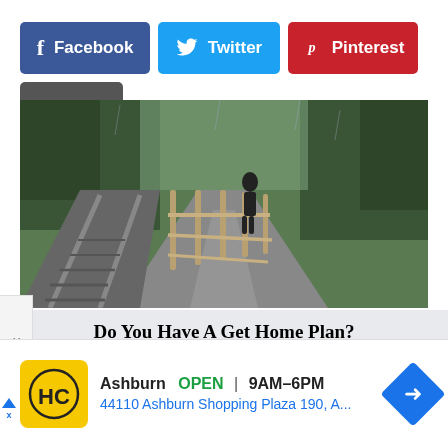[Figure (illustration): Social share buttons: Facebook (dark blue), Twitter (light blue), Pinterest (red), Email (dark gray)]
[Figure (photo): Rainy road scene with a person walking on a wet road beside railway tracks, surrounded by green trees]
Do You Have A Get Home Plan?
[Figure (infographic): Google ad strip for HC Ashburn store: yellow logo, Ashburn OPEN 9AM-6PM, 44110 Ashburn Shopping Plaza 190, A..., with navigation icon]